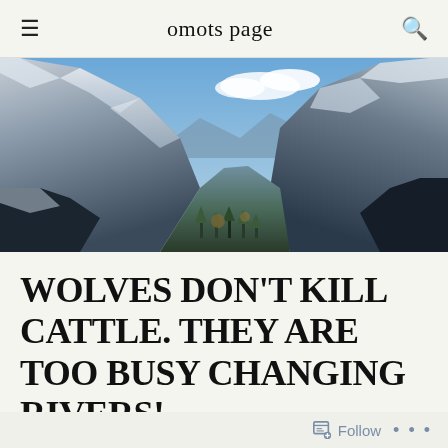omots page
[Figure (photo): Panoramic mountain landscape with snow-covered peaks, rocky cliffs on both sides, and a blue sky with clouds in the background. A valley stretches between the mountains with autumn and evergreen trees visible.]
WOLVES DON'T KILL CATTLE. THEY ARE TOO BUSY CHANGING RIVERS!
Follow ...